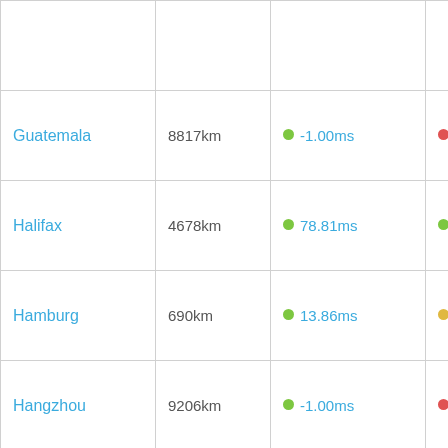| Location | Distance | Latency | Score |
| --- | --- | --- | --- |
|  |  |  |  |
| Guatemala | 8817km | -1.00ms | -8817.00% |
| Halifax | 4678km | 78.81ms | 59.97% |
| Hamburg | 690km | 13.86ms | 53.08% |
| Hangzhou | 9206km | -1.00ms | -9206.00% |
| Hanoi | 9203km | 191.12ms | 48.18% |